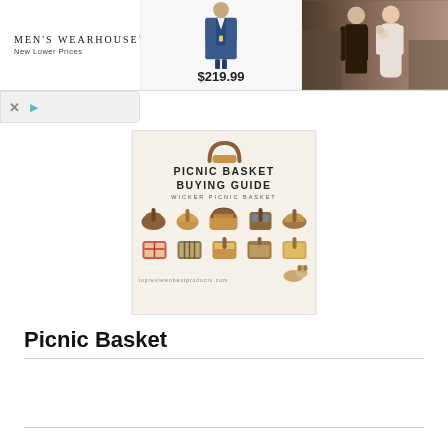[Figure (screenshot): Men's Wearhouse advertisement banner showing brand name, suit at $219.99, and wedding couple photo]
[Figure (infographic): Picnic Basket Buying Guide infographic showing wicker picnic baskets, topreviewnbestproducts.com]
Picnic Basket